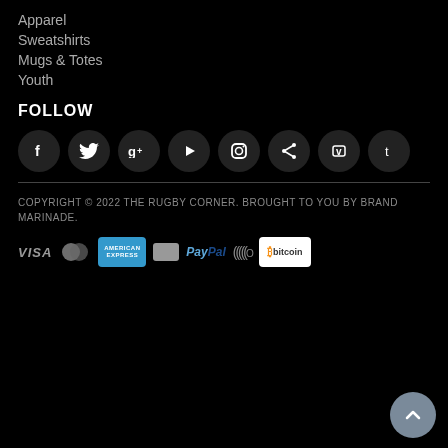Apparel
Sweatshirts
Mugs & Totes
Youth
FOLLOW
[Figure (infographic): Row of 8 social media icon circles: Facebook, Twitter, Google+, YouTube, Instagram, Share, Vimeo, Tumblr]
COPYRIGHT © 2022 THE RUGBY CORNER. BROUGHT TO YOU BY BRAND MARINADE.
[Figure (infographic): Payment method icons: VISA, Mastercard, American Express, generic card, PayPal, contactless/wave, Bitcoin]